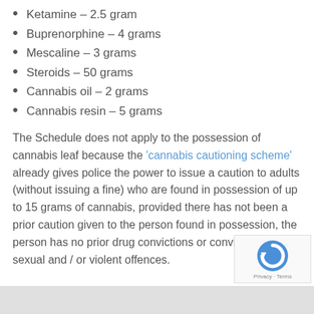Ketamine – 2.5 gram
Buprenorphine – 4 grams
Mescaline – 3 grams
Steroids – 50 grams
Cannabis oil – 2 grams
Cannabis resin – 5 grams
The Schedule does not apply to the possession of cannabis leaf because the 'cannabis cautioning scheme' already gives police the power to issue a caution to adults (without issuing a fine) who are found in possession of up to 15 grams of cannabis, provided there has not been a prior caution given to the person found in possession, the person has no prior drug convictions or convictions for sexual and / or violent offences.